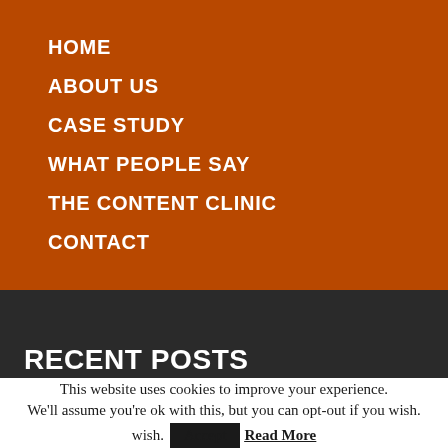HOME
ABOUT US
CASE STUDY
WHAT PEOPLE SAY
THE CONTENT CLINIC
CONTACT
RECENT POSTS
This website uses cookies to improve your experience. We'll assume you're ok with this, but you can opt-out if you wish.
Accept  Read More